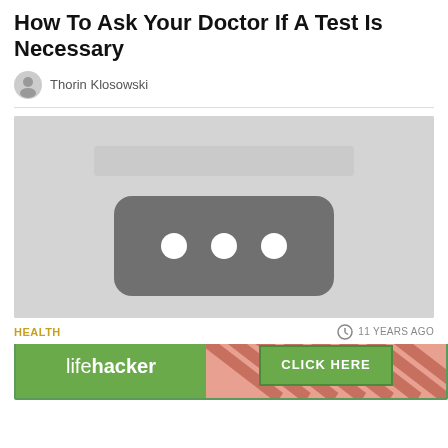How To Ask Your Doctor If A Test Is Necessary
Thorin Klosowski
[Figure (photo): A blurred/placeholder hero image showing a dark rounded rectangle with three white dots (loading/placeholder icon) on a light grey background]
HEALTH
11 YEARS AGO
Today … Home Stretc…
[Figure (other): Advertisement banner featuring lifehacker logo on green background and a CLICK HERE button with diagonal stripe pattern]